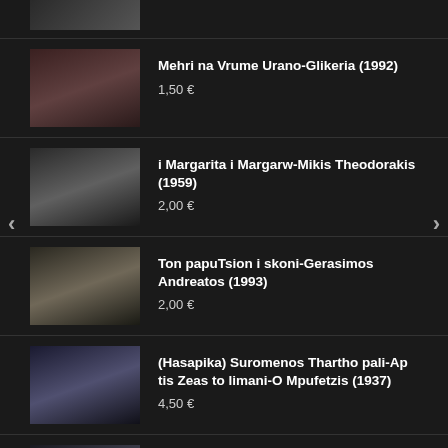Mehri na Vrume Urano-Glikeria (1992)
1,50 €
i Margarita i Margarw-Mikis Theodorakis (1959)
2,00 €
Ton papuTsion i skoni-Gerasimos Andreatos (1993)
2,00 €
(Hasapika) Suromenos Thartho pali-Ap tis Zeas to limani-O Mpufetzis (1937)
4,50 €
Love is the Seventh Wave-Sting (1985)
1,50 €